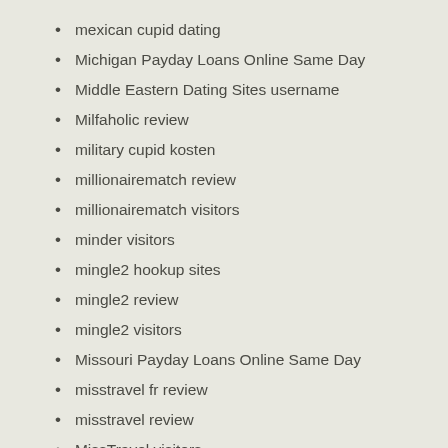mexican cupid dating
Michigan Payday Loans Online Same Day
Middle Eastern Dating Sites username
Milfaholic review
military cupid kosten
millionairematch review
millionairematch visitors
minder visitors
mingle2 hookup sites
mingle2 review
mingle2 visitors
Missouri Payday Loans Online Same Day
misstravel fr review
misstravel review
MissTravel visitors